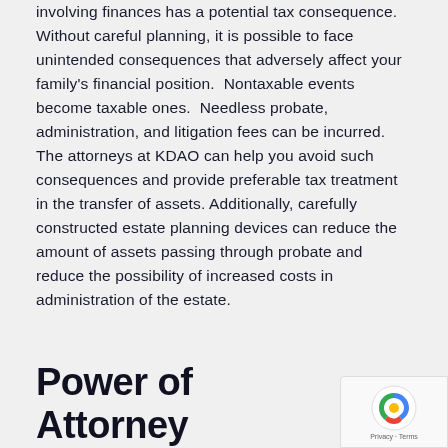involving finances has a potential tax consequence. Without careful planning, it is possible to face unintended consequences that adversely affect your family's financial position. Nontaxable events become taxable ones. Needless probate, administration, and litigation fees can be incurred. The attorneys at KDAO can help you avoid such consequences and provide preferable tax treatment in the transfer of assets. Additionally, carefully constructed estate planning devices can reduce the amount of assets passing through probate and reduce the possibility of increased costs in administration of the estate.
Power of Attorney